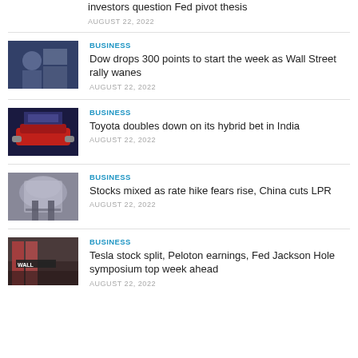investors question Fed pivot thesis
AUGUST 22, 2022
[Figure (photo): Stock trader on trading floor]
BUSINESS
Dow drops 300 points to start the week as Wall Street rally wanes
AUGUST 22, 2022
[Figure (photo): Toyota car at auto show]
BUSINESS
Toyota doubles down on its hybrid bet in India
AUGUST 22, 2022
[Figure (photo): People walking through modern building]
BUSINESS
Stocks mixed as rate hike fears rise, China cuts LPR
AUGUST 22, 2022
[Figure (photo): Wall Street sign with American flags]
BUSINESS
Tesla stock split, Peloton earnings, Fed Jackson Hole symposium top week ahead
AUGUST 22, 2022